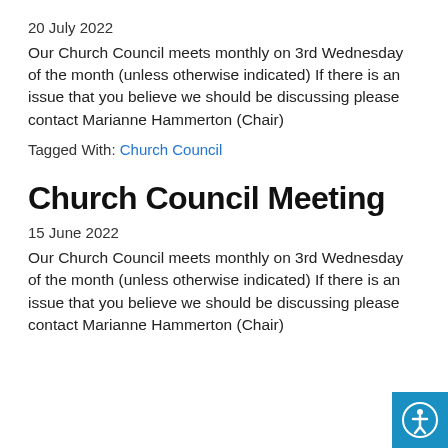20 July 2022
Our Church Council meets monthly on 3rd Wednesday of the month (unless otherwise indicated) If there is an issue that you believe we should be discussing please contact Marianne Hammerton (Chair)
Tagged With: Church Council
Church Council Meeting
15 June 2022
Our Church Council meets monthly on 3rd Wednesday of the month (unless otherwise indicated) If there is an issue that you believe we should be discussing please contact Marianne Hammerton (Chair)